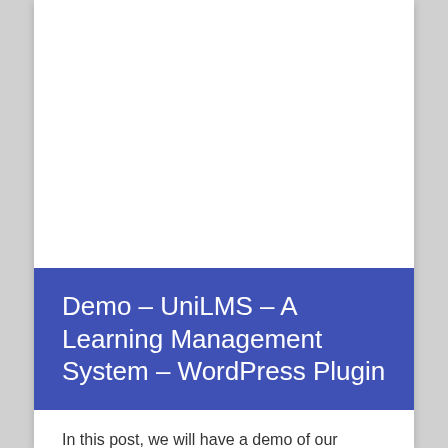[Figure (other): White blank area at the top of the page card]
Demo – UniLMS – A Learning Management System – WordPress Plugin
In this post, we will have a demo of our learning management system known as